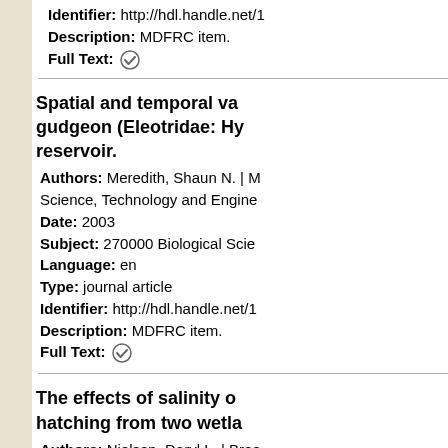Identifier: http://hdl.handle.net/1...
Description: MDFRC item.
Full Text: ✓
Spatial and temporal va... gudgeon (Eleotridae: Hy... reservoir.
Authors: Meredith, Shaun N. | M...
Science, Technology and Engine...
Date: 2003
Subject: 270000 Biological Scie...
Language: en
Type: journal article
Identifier: http://hdl.handle.net/1...
Description: MDFRC item.
Full Text: ✓
The effects of salinity o... hatching from two wetla...
Authors: Nielsen, Daryl L. | Broo...
Michael. | Jarosinski, Irene. | La T...
Murray Darling Freshwater Rese...
Date: 2003